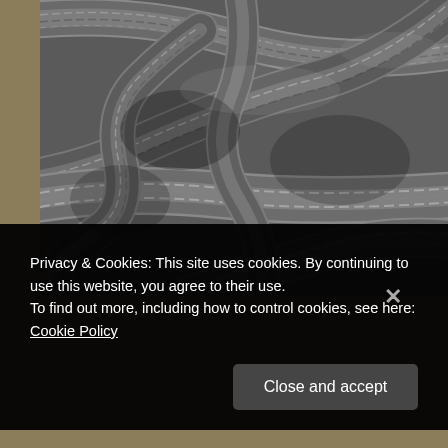[Figure (photo): Black and white close-up photograph of tangled ropes showing twisted fiber texture and interwoven rope strands]
Privacy & Cookies: This site uses cookies. By continuing to use this website, you agree to their use.
To find out more, including how to control cookies, see here: Cookie Policy
Close and accept